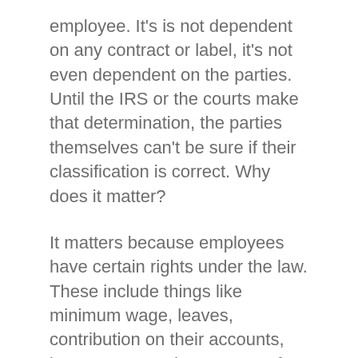employee. It's is not dependent on any contract or label, it's not even dependent on the parties. Until the IRS or the courts make that determination, the parties themselves can't be sure if their classification is correct. Why does it matter?
It matters because employees have certain rights under the law. These include things like minimum wage, leaves, contribution on their accounts, insurance etc. These are not for other types of workers.
Unfortunately, many companies have used this to get out of the extra expenses attached to employees. They “label” their workers as independent contractors even if they are no different than employees. So much so that the government has become vigilant in policing this